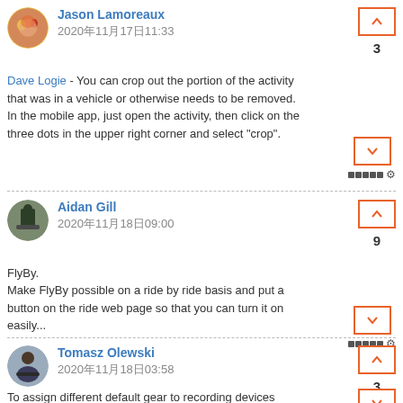[Figure (illustration): Avatar circle for Jason Lamoreaux - colorful image]
Jason Lamoreaux
2020年11月17日11:33
Dave Logie - You can crop out the portion of the activity that was in a vehicle or otherwise needs to be removed. In the mobile app, just open the activity, then click on the three dots in the upper right corner and select "crop".
[Figure (illustration): Avatar circle for Aidan Gill - person with bike]
Aidan Gill
2020年11月18日09:00
FlyBy.
Make FlyBy possible on a ride by ride basis and put a button on the ride web page so that you can turn it on easily...
[Figure (illustration): Avatar circle for Tomasz Olewski - cyclist]
Tomasz Olewski
2020年11月18日03:58
To assign different default gear to recording devices